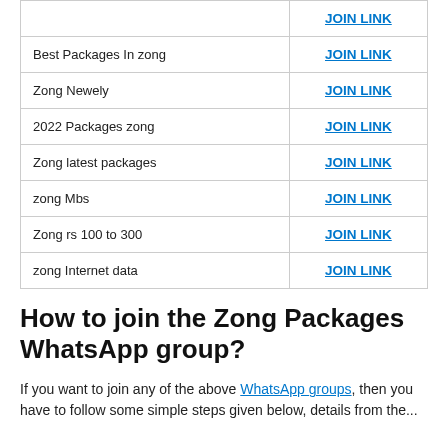|  |  |
| --- | --- |
| Best Packages In zong | JOIN LINK |
| Zong Newely | JOIN LINK |
| 2022 Packages zong | JOIN LINK |
| Zong latest packages | JOIN LINK |
| zong Mbs | JOIN LINK |
| Zong rs 100 to 300 | JOIN LINK |
| zong Internet data | JOIN LINK |
How to join the Zong Packages WhatsApp group?
If you want to join any of the above WhatsApp groups, then you have to follow some simple steps given below, details from the...